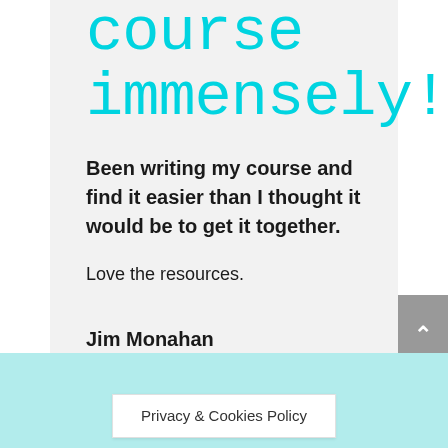course immensely!
Been writing my course and find it easier than I thought it would be to get it together.
Love the resources.
Jim Monahan
Privacy & Cookies Policy